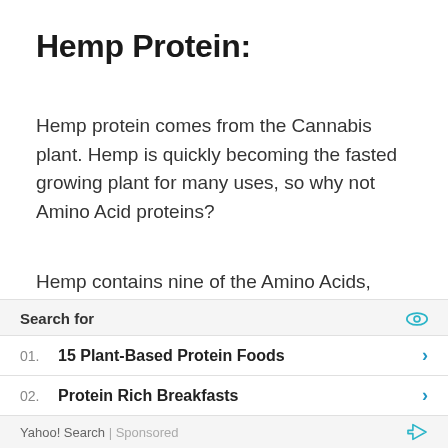Hemp Protein:
Hemp protein comes from the Cannabis plant. Hemp is quickly becoming the fasted growing plant for many uses, so why not Amino Acid proteins?
Hemp contains nine of the Amino Acids, Omega 3's, vitamins, and minerals.  Because this is a plant protein that doesn't provide all of the necessary Aminos, I don't recommend this one if your goal is increased muscle mass, but it is definitely a good muscle support powder
Search for
01.  15 Plant-Based Protein Foods
02.  Protein Rich Breakfasts
Yahoo! Search | Sponsored